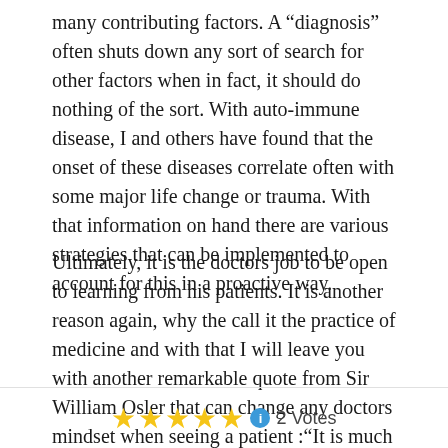many contributing factors. A “diagnosis” often shuts down any sort of search for other factors when in fact, it should do nothing of the sort. With auto-immune disease, I and others have found that the onset of these diseases correlate often with some major life change or trauma. With that information on hand there are various strategies that can be implemented to account for this in a proactive way.
Ultimately, it is the doctors job to be open to learning from his patients. It is another reason again, why the call it the practice of medicine and with that I will leave you with another remarkable quote from Sir William Osler that can change any doctors mindset when seeing a patient :“It is much more important to know what sort of a patient has a disease than what sort of a disease a patient has.”
[Figure (other): Five gold star rating icons followed by an info icon and '2 Votes' text]